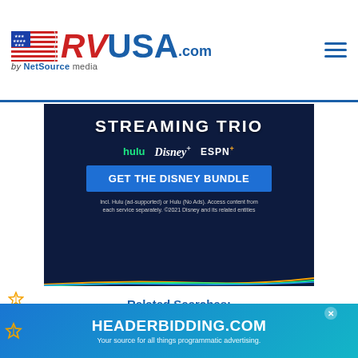RVUSA.com by NetSource media
[Figure (screenshot): Disney Bundle streaming advertisement banner showing 'STREAMING TRIO' with Hulu, Disney+, ESPN+ logos and 'GET THE DISNEY BUNDLE' button]
Related Searches:
Forest River RVs   Forest River Rockwood High Wall RVs
Forest River RVs in Illinois   RVs for sale in Illinois
[Figure (screenshot): HEADERBIDDING.COM advertisement banner - Your source for all things programmatic advertising.]